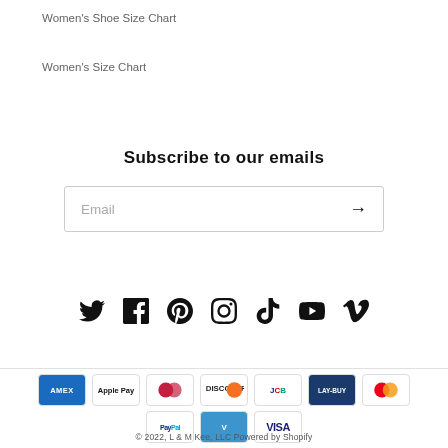Women's Shoe Size Chart
Women's Size Chart
Subscribe to our emails
Email
[Figure (infographic): Social media icons: Twitter, Facebook, Pinterest, Instagram, TikTok, YouTube, Vimeo]
[Figure (infographic): Payment method badges: American Express, Apple Pay, Diners Club, Discover, JCB, Lay-Buy, Mastercard, PayPal, Venmo, Visa]
© 2022, L & M Kee, LLC Powered by Shopify